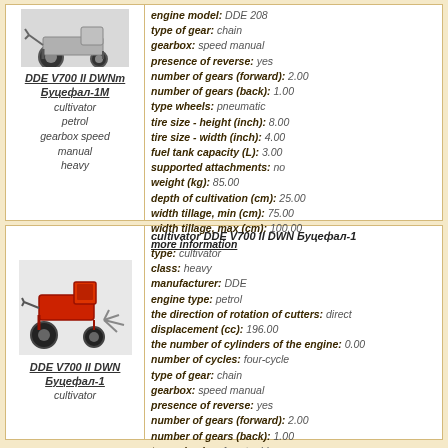[Figure (photo): Photo of DDE V700 II DWNm Буцефал-1М cultivator/tiller]
DDE V700 II DWNm Буцефал-1М
cultivator
petrol
gearbox speed manual
heavy
engine model: DDE 208
type of gear: chain
gearbox: speed manual
presence of reverse: yes
number of gears (forward): 2.00
number of gears (back): 1.00
type wheels: pneumatic
tire size - height (inch): 8.00
tire size - width (inch): 4.00
fuel tank capacity (L): 3.00
supported attachments: no
weight (kg): 85.00
depth of cultivation (cm): 25.00
width tillage, min (cm): 75.00
width tillage, max (cm): 100.00
more information
[Figure (photo): Photo of DDE V700 II DWN Буцефал-1 red cultivator/tiller]
DDE V700 II DWN Буцефал-1
cultivator
cultivator DDE V700 II DWN Буцефал-1
type: cultivator
class: heavy
manufacturer: DDE
engine type: petrol
the direction of rotation of cutters: direct
displacement (cc): 196.00
the number of cylinders of the engine: 0.00
number of cycles: four-cycle
type of gear: chain
gearbox: speed manual
presence of reverse: yes
number of gears (forward): 2.00
number of gears (back): 1.00
type wheels: of cast rubber